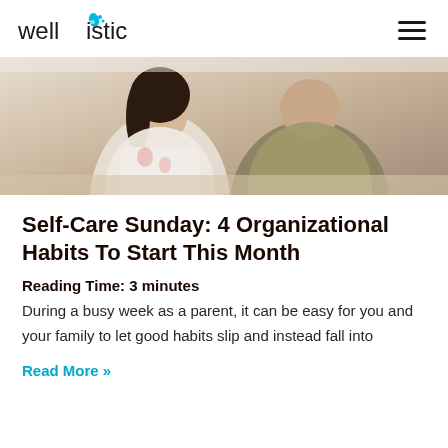wellistic
[Figure (photo): Two people sitting at a table viewed from behind, one wearing a white top and the other in an olive/grey shirt, blurred background]
Self-Care Sunday: 4 Organizational Habits To Start This Month
Reading Time: 3 minutes
During a busy week as a parent, it can be easy for you and your family to let good habits slip and instead fall into
Read More »